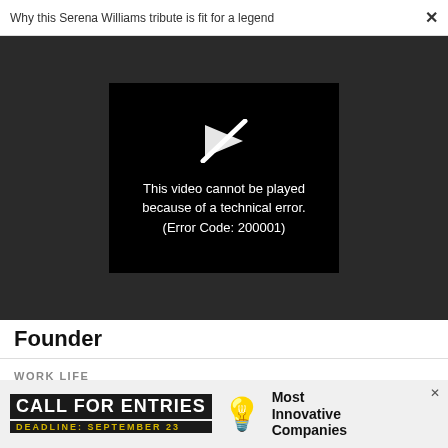Why this Serena Williams tribute is fit for a legend  ✕
[Figure (screenshot): Video player showing error message: 'This video cannot be played because of a technical error. (Error Code: 200001)' on black background within dark gray video area]
Founder
WORK LIFE
What science has to say about your birth order and your career choice
[Figure (infographic): Advertisement banner: CALL FOR ENTRIES | DEADLINE: SEPTEMBER 23 | light bulb icon | Most Innovative Companies]